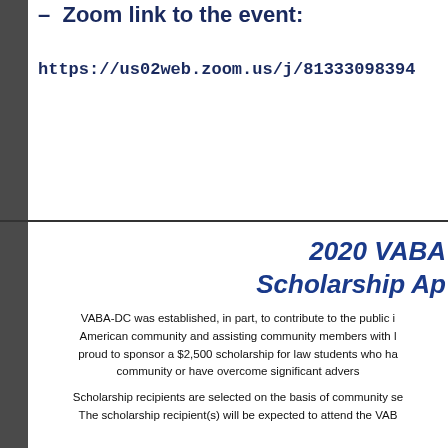Zoom link to the event:
https://us02web.zoom.us/j/81333098394
2020 VABA Scholarship Application
VABA-DC was established, in part, to contribute to the public interest of the Vietnamese American community and assisting community members with legal matters. VABA-DC is proud to sponsor a $2,500 scholarship for law students who have served the Vietnamese American community or have overcome significant adversity.
Scholarship recipients are selected on the basis of community service and academic merit. The scholarship recipient(s) will be expected to attend the VABA